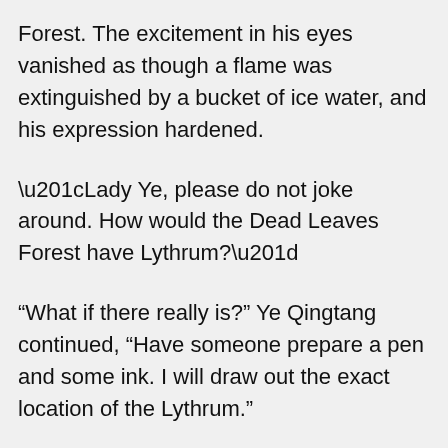Forest. The excitement in his eyes vanished as though a flame was extinguished by a bucket of ice water, and his expression hardened.
“Lady Ye, please do not joke around. How would the Dead Leaves Forest have Lythrum?”
“What if there really is?” Ye Qingtang continued, “Have someone prepare a pen and some ink. I will draw out the exact location of the Lythrum.”
Initially, the manager had thought that she was unreliable. However upon seeing her calmness, he could not help but frown. After hesitating for a while, he asked someone to prepare a pen and some ink.